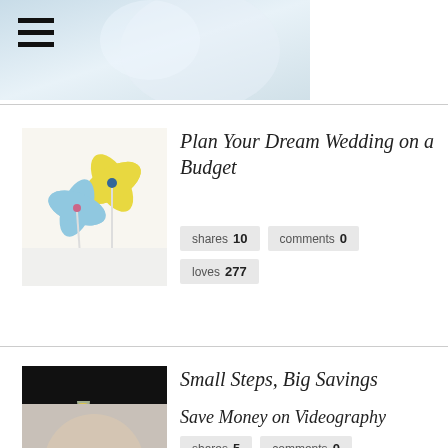[Figure (photo): Top header area with decorative image (wedding cake/flowers) and hamburger menu icon and search icon]
Plan Your Dream Wedding on a Budget
shares 10  comments 0  loves 277
Small Steps, Big Savings
shares 5  comments 0  loves 337
Save Money on Videography